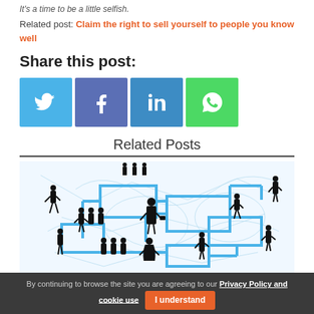It's a time to be a little selfish.
Related post: Claim the right to sell yourself to people you know well
Share this post:
[Figure (infographic): Four social share buttons: Twitter (blue), Facebook (dark blue), LinkedIn (medium blue), WhatsApp (green)]
Related Posts
[Figure (illustration): Network diagram with silhouetted business people figures connected by blue lines on a white/light blue background]